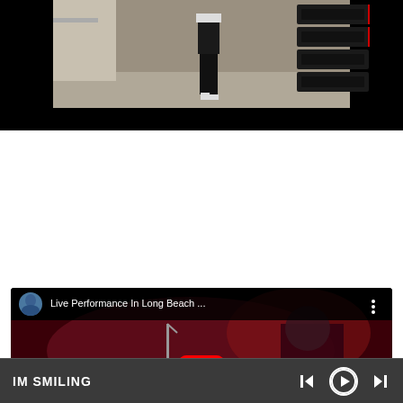[Figure (photo): Screenshot of a video showing a person walking near a stack of large black speakers/PA equipment outdoors, with black letterbox bars top and bottom. Displayed in a dark background frame.]
[Figure (screenshot): YouTube-style embedded video player showing a live music performance in a dark red-lit venue. Header shows a circular avatar, title 'Live Performance In Long Beach ...' and a three-dot menu. A YouTube play button (red rectangle with white triangle) is visible in the center. A microphone stand silhouette is visible.]
IM SMILING